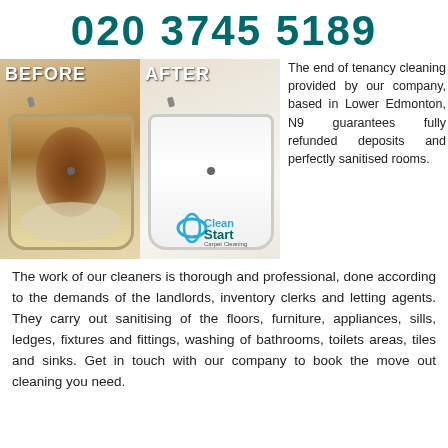020 3745 5189
[Figure (photo): Before and after comparison photos of a bathtub — left shows dirty stained tub (BEFORE), right shows clean white tub (AFTER) with Clean Start Carpet Cleaning logo overlay]
The end of tenancy cleaning provided by our company, based in Lower Edmonton, N9 guarantees fully refunded deposits and perfectly sanitised rooms.
The work of our cleaners is thorough and professional, done according to the demands of the landlords, inventory clerks and letting agents. They carry out sanitising of the floors, furniture, appliances, sills, ledges, fixtures and fittings, washing of bathrooms, toilets areas, tiles and sinks. Get in touch with our company to book the move out cleaning you need.